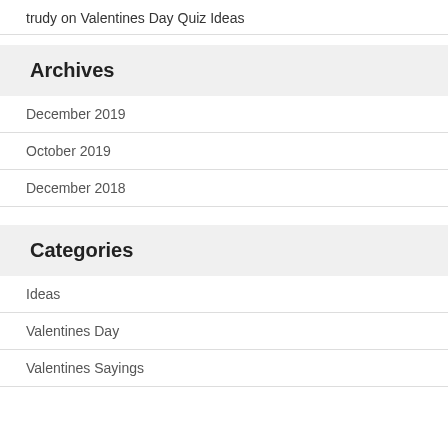trudy on Valentines Day Quiz Ideas
Archives
December 2019
October 2019
December 2018
Categories
Ideas
Valentines Day
Valentines Sayings